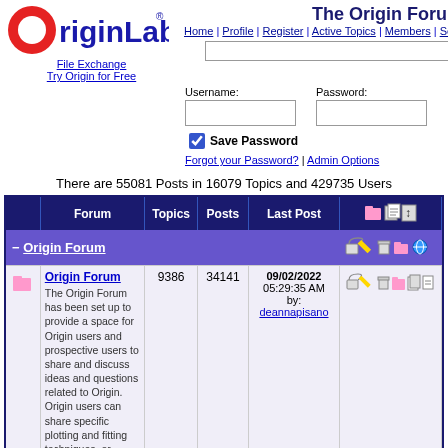[Figure (logo): OriginLab logo with red circle O and blue bold text riginLab with registered trademark symbol]
File Exchange
Try Origin for Free
The Origin Forum
Home | Profile | Register | Active Topics | Members | Search
Username: Password:
Save Password
Forgot your Password? | Admin Options
There are 55081 Posts in 16079 Topics and 429735 Users
|  | Forum | Topics | Posts | Last Post |  |
| --- | --- | --- | --- | --- | --- |
|  | Origin Forum | 9386 | 34141 | 09/02/2022 05:29:35 AM by: deannapisano |  |
|  | The Origin Forum has been set up to provide a space for Origin users and prospective users to share and discuss ideas and questions related to Origin. Origin users can share specific plotting and fitting techniques, or simply post a question. If you |  |  |  |  |